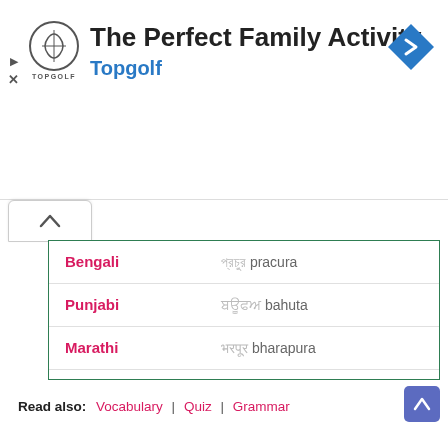[Figure (advertisement): Topgolf advertisement banner with logo and text 'The Perfect Family Activity' and 'Topgolf', with a blue navigation icon on the right]
| Language | Translation |
| --- | --- |
| Bengali | প্রচুর pracura |
| Punjabi | ਬਹੁਤ bahuta |
| Marathi | भरपूर bharapura |
| Gujarati | પુષ્કળ puskala |
| Nepali | प्रशस्त prasasta |
Read also: Vocabulary | Quiz | Grammar